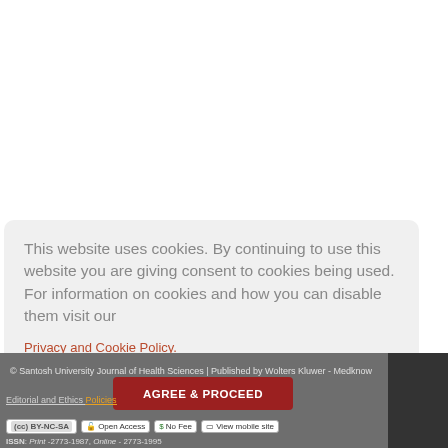This website uses cookies. By continuing to use this website you are giving consent to cookies being used. For information on cookies and how you can disable them visit our
Privacy and Cookie Policy.
© Santosh University Journal of Health Sciences | Published by Wolters Kluwer - Medknow
AGREE & PROCEED
Editorial and Ethics Policies
(cc) BY-NC-SA   Open Access   $ No Fee   View mobile site
ISSN: Print -2773-1987, Online - 2773-1995